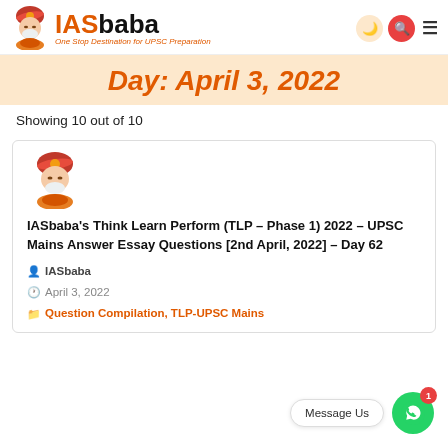IASbaba – One Stop Destination for UPSC Preparation
Day: April 3, 2022
Showing 10 out of 10
[Figure (logo): IASbaba mascot logo (cartoon monk meditating) inside article card]
IASbaba's Think Learn Perform (TLP – Phase 1) 2022 – UPSC Mains Answer Essay Questions [2nd April, 2022] – Day 62
IASbaba
April 3, 2022
Question Compilation, TLP-UPSC Mains